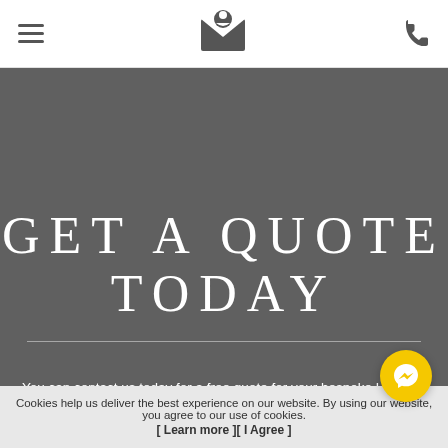Navigation header with hamburger menu, logo, and phone icon
GET A QUOTE TODAY
You can contact us today for a free quote for your bespoke Unifold® bifold door needs. Whether you're looking for the UniFOLD® / UniFOLD+® system to be implemented into a residential or commercial project, we can assist. Simply visit our contact page and fill out our online contact form. A member of our expert team will be able to answer any questions you may have.
Cookies help us deliver the best experience on our website. By using our website, you agree to our use of cookies. [ Learn more ][ I Agree ]